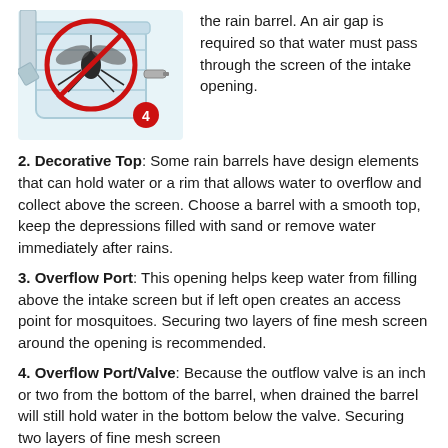[Figure (illustration): Illustration of a rain barrel with a mosquito inside a red prohibition circle (no mosquito symbol). A red badge with the number 4 is visible near the bottom right of the barrel illustration.]
the rain barrel. An air gap is required so that water must pass through the screen of the intake opening.
2. Decorative Top: Some rain barrels have design elements that can hold water or a rim that allows water to overflow and collect above the screen. Choose a barrel with a smooth top, keep the depressions filled with sand or remove water immediately after rains.
3. Overflow Port: This opening helps keep water from filling above the intake screen but if left open creates an access point for mosquitoes. Securing two layers of fine mesh screen around the opening is recommended.
4. Overflow Port/Valve: Because the outflow valve is an inch or two from the bottom of the barrel, when drained the barrel will still hold water in the bottom below the valve. Securing two layers of fine mesh screen